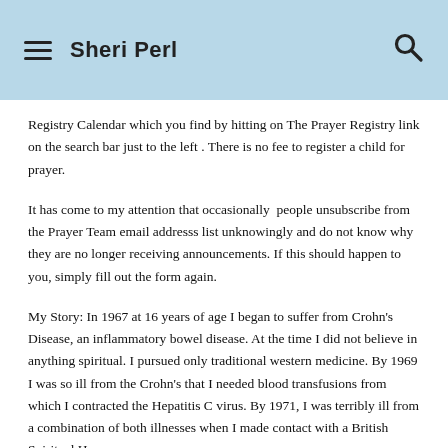Sheri Perl
Registry Calendar which you find by hitting on The Prayer Registry link on the search bar just to the left. There is no fee to register a child for prayer.
It has come to my attention that occasionally people unsubscribe from the Prayer Team email addresss list unknowingly and do not know why they are no longer receiving announcements. If this should happen to you, simply fill out the form again.
My Story: In 1967 at 16 years of age I began to suffer from Crohn's Disease, an inflammatory bowel disease. At the time I did not believe in anything spiritual. I pursued only traditional western medicine. By 1969 I was so ill from the Crohn's that I needed blood transfusions from which I contracted the Hepatitis C virus. By 1971, I was terribly ill from a combination of both illnesses when I made contact with a British Spiritual Hea[ler named Harry Edwards…